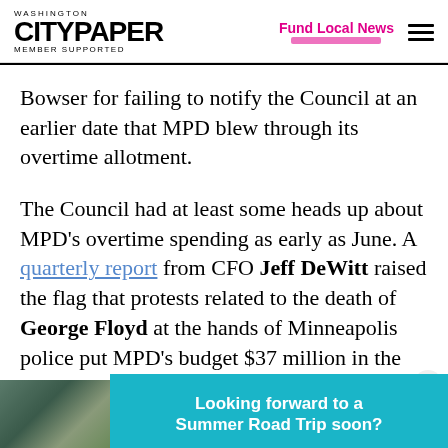Washington City Paper — MEMBER SUPPORTED | Fund Local News
Bowser for failing to notify the Council at an earlier date that MPD blew through its overtime allotment.
The Council had at least some heads up about MPD's overtime spending as early as June. A quarterly report from CFO Jeff DeWitt raised the flag that protests related to the death of George Floyd at the hands of Minneapolis police put MPD's budget $37 million in the hole. Another regular
[Figure (infographic): Advertisement banner: photo of family on left, teal background with text 'Looking forward to a Summer Road Trip soon?' on right]